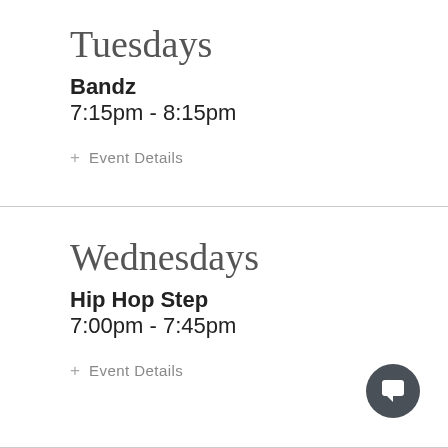Tuesdays
Bandz
7:15pm - 8:15pm
+ Event Details
Wednesdays
Hip Hop Step
7:00pm - 7:45pm
+ Event Details
[Figure (illustration): Dark circular chat/message button icon in bottom right corner]